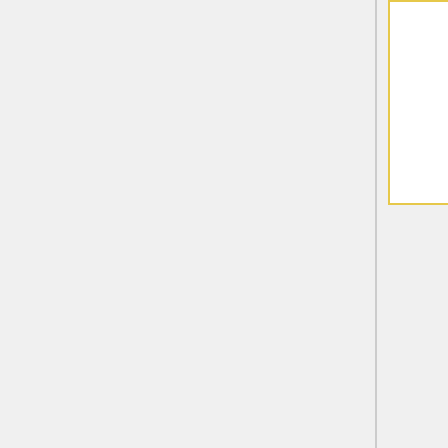Will; Curtis (CMO); Christina, George (Athens); Matt,, Jon (IU); Tolga (FIU).
# Announcements
# Action Items
# Reviewed status of [https://halldweb.jlab.org/wiki-private/index.php/2018_Work_Packages#Calorimetry Calorimeter work packages]. I have added item numbers for ease of identification. We have been asked to produce a SUMMARY.